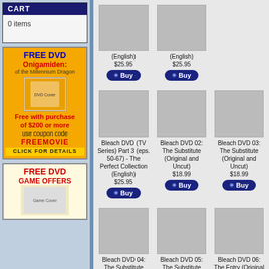CART
0 items
[Figure (infographic): FREE DVD Onigamiden: of the Millennium Dragon. Free with purchase of $200 or more, use coupon code FREEMOVIE, CLICK FOR DETAILS]
[Figure (infographic): FREE DVD GAME OFFERS with product image]
Bleach DVD (TV Series) Part 3 (eps. 50-67) - The Perfect Collection (English) $25.95
Bleach DVD 02: The Substitute (Original and Uncut) $25.95
Bleach DVD 03: The Substitute (Original and Uncut) $25.95
Bleach DVD (TV Series) Part 3 (eps. 50-67) - The Perfect Collection (English) $25.95
Bleach DVD 02: The Substitute (Original and Uncut) $18.99
Bleach DVD 03: The Substitute (Original and Uncut) $18.99
Bleach DVD 04: The Substitute (Original and Uncut) $18.99
Bleach DVD 05: The Substitute (Original and Uncut) $18.99
Bleach DVD 06: The Entry (Original and Uncut) $18.99